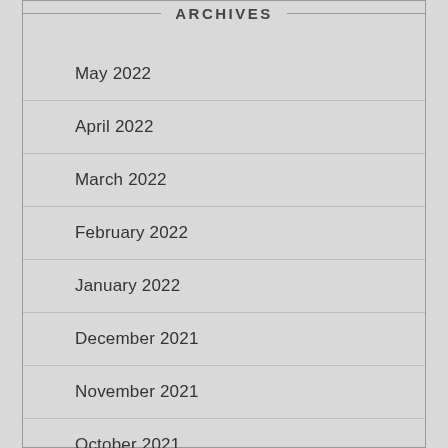ARCHIVES
May 2022
April 2022
March 2022
February 2022
January 2022
December 2021
November 2021
October 2021